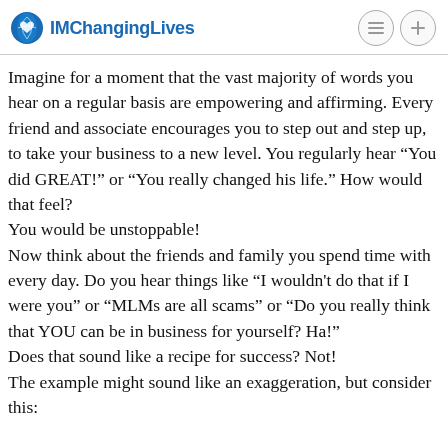IMChangingLives
Imagine for a moment that the vast majority of words you hear on a regular basis are empowering and affirming. Every friend and associate encourages you to step out and step up, to take your business to a new level. You regularly hear “You did GREAT!” or “You really changed his life.” How would that feel?
You would be unstoppable!
Now think about the friends and family you spend time with every day. Do you hear things like “I wouldn't do that if I were you” or “MLMs are all scams” or “Do you really think that YOU can be in business for yourself? Ha!”
Does that sound like a recipe for success? Not!
The example might sound like an exaggeration, but consider this: